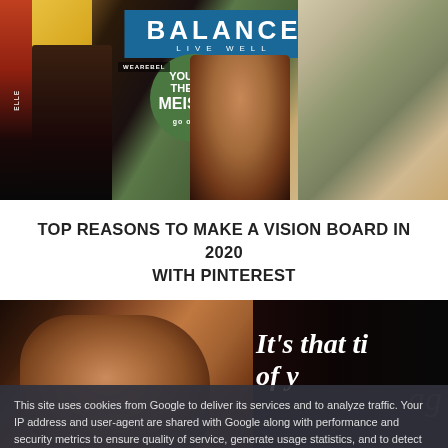[Figure (photo): Vision board collage with magazine cutouts showing the word BALANCE, YOU ARE THE ZEN MEISTER text in a circle, a person, DREAM text, and various fashion/lifestyle images]
TOP REASONS TO MAKE A VISION BOARD IN 2020 WITH PINTEREST
[Figure (photo): Dark image of a stressed person with head in hands and text overlay reading 'It's that ti... of y...' (partially visible) with a cookie consent overlay. Cookie text reads: 'This site uses cookies from Google to deliver its services and to analyze traffic. Your IP address and user-agent are shared with Google along with performance and security metrics to ensure quality of service, generate usage statistics, and to detect and address abuse.' with LEARN MORE and OK buttons.]